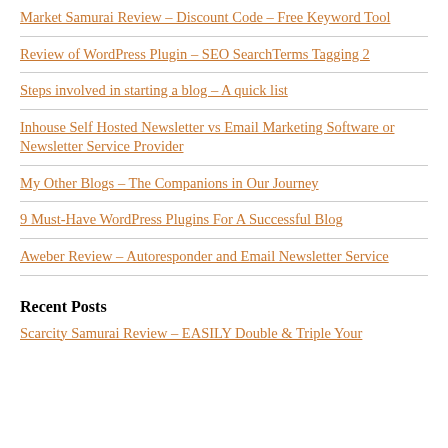Market Samurai Review – Discount Code – Free Keyword Tool
Review of WordPress Plugin – SEO SearchTerms Tagging 2
Steps involved in starting a blog – A quick list
Inhouse Self Hosted Newsletter vs Email Marketing Software or Newsletter Service Provider
My Other Blogs – The Companions in Our Journey
9 Must-Have WordPress Plugins For A Successful Blog
Aweber Review – Autoresponder and Email Newsletter Service
Recent Posts
Scarcity Samurai Review – EASILY Double & Triple Your